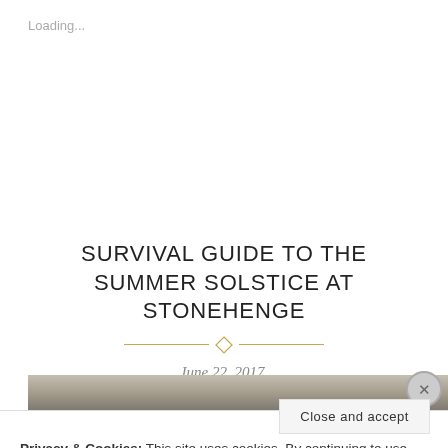Loading...
SURVIVAL GUIDE TO THE SUMMER SOLSTICE AT STONEHENGE
June 22, 2017.
Reading time 6 minutes.
[Figure (photo): Partially visible photograph, appears to show Stonehenge or related landscape, mostly obscured by cookie consent overlay]
Privacy & Cookies: This site uses cookies. By continuing to use this website, you agree to their use.
To find out more, including how to control cookies, see here: Cookie Policy
Close and accept